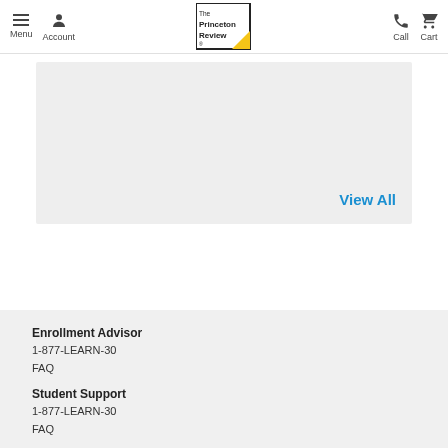Menu  Account  The Princeton Review  Call  Cart
[Figure (screenshot): Gray placeholder content box with 'View All' link in blue at bottom right]
View All
Enrollment Advisor
1-877-LEARN-30
FAQ
Student Support
1-877-LEARN-30
FAQ